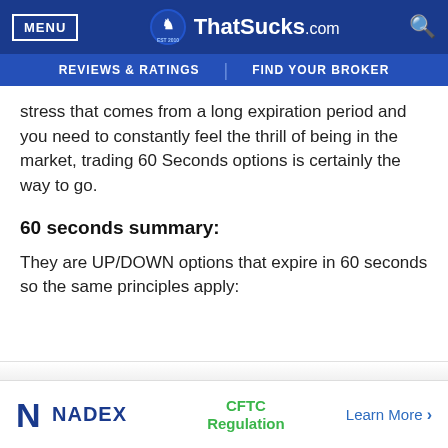MENU | ThatSucks.com | REVIEWS & RATINGS | FIND YOUR BROKER
stress that comes from a long expiration period and you need to constantly feel the thrill of being in the market, trading 60 Seconds options is certainly the way to go.
60 seconds summary:
They are UP/DOWN options that expire in 60 seconds so the same principles apply:
[Figure (logo): NADEX broker advertisement banner with CFTC Regulation label and Learn More link]